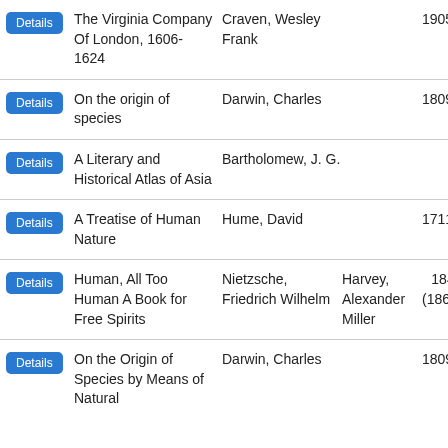|  | Title | Author | Translator | Year |
| --- | --- | --- | --- | --- |
| Details | The Virginia Company Of London, 1606-1624 | Craven, Wesley Frank |  | 1905 |
| Details | On the origin of species | Darwin, Charles |  | 1809 |
| Details | A Literary and Historical Atlas of Asia | Bartholomew, J. G. |  |  |
| Details | A Treatise of Human Nature | Hume, David |  | 1711 |
| Details | Human, All Too Human A Book for Free Spirits | Nietzsche, Friedrich Wilhelm | Harvey, Alexander Miller | 1844 (1867) |
| Details | On the Origin of Species by Means of Natural | Darwin, Charles |  | 1809 |